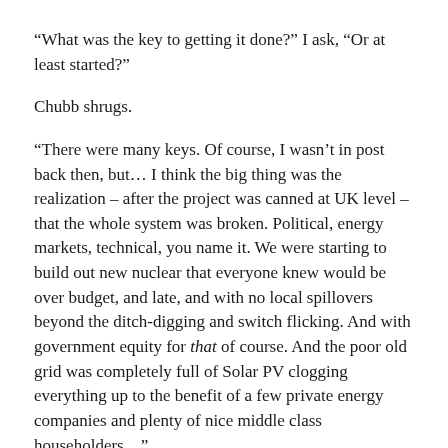“What was the key to getting it done?” I ask, “Or at least started?”
Chubb shrugs.
“There were many keys. Of course, I wasn’t in post back then, but… I think the big thing was the realization – after the project was canned at UK level – that the whole system was broken. Political, energy markets, technical, you name it. We were starting to build out new nuclear that everyone knew would be over budget, and late, and with no local spillovers beyond the ditch-digging and switch flicking. And with government equity for that of course. And the poor old grid was completely full of Solar PV clogging everything up to the benefit of a few private energy companies and plenty of nice middle class householders…”